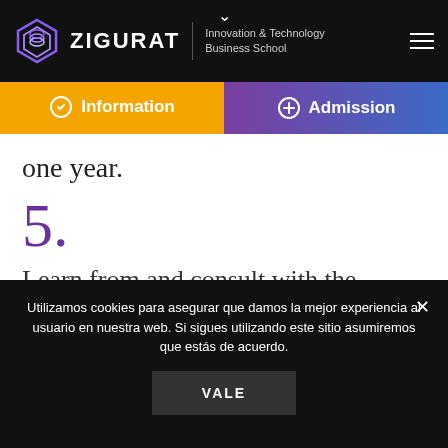[Figure (logo): Zigurat Innovation & Technology Business School logo with hexagonal icon]
Information
Admission
one year.
5.
Learn from and consult with the academia and business leaders with the highest expertise in
Utilizamos cookies para asegurar que damos la mejor experiencia al usuario en nuestra web. Si sigues utilizando este sitio asumiremos que estás de acuerdo.
VALE